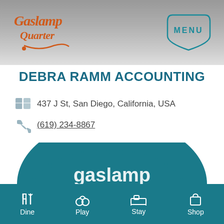Gaslamp Quarter | MENU
DEBRA RAMM ACCOUNTING
437 J St, San Diego, California, USA
(619) 234-8867
[Figure (illustration): Gaslamp Quarter arch/dome illustration with dotted arc and gaslamp logo text]
Dine | Play | Stay | Shop